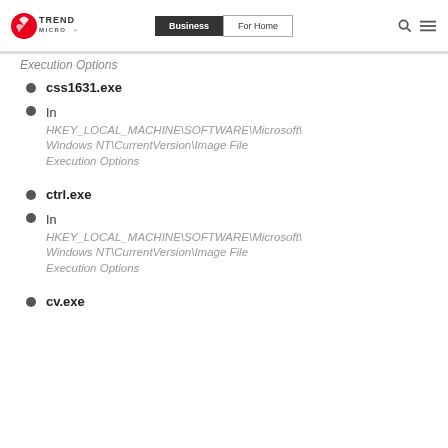Trend Micro | Business | For Home
Execution Options
css1631.exe
In HKEY_LOCAL_MACHINE\SOFTWARE\Microsoft\Windows NT\CurrentVersion\Image File Execution Options
ctrl.exe
In HKEY_LOCAL_MACHINE\SOFTWARE\Microsoft\Windows NT\CurrentVersion\Image File Execution Options
cv.exe